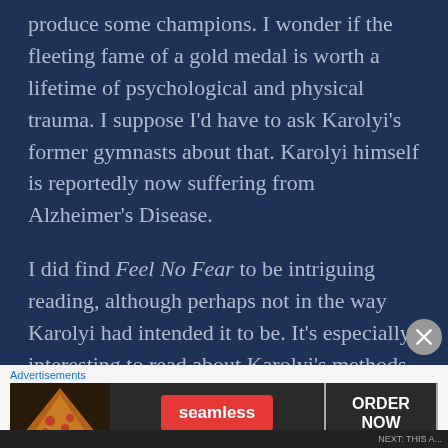produce some champions. I wonder if the fleeting fame of a gold medal is worth a lifetime of psychological and physical trauma. I suppose I'd have to ask Karolyi's former gymnasts about that. Karolyi himself is reportedly now suffering from Alzheimer's Disease.
I did find Feel No Fear to be intriguing reading, although perhaps not in the way Karolyi had intended it to be. It's especially interesting to read about Karolyi's methods in the
[Figure (other): Seamless food delivery advertisement banner showing pizza image on left, red Seamless logo in center, and ORDER NOW button on right against dark background]
Advertisements